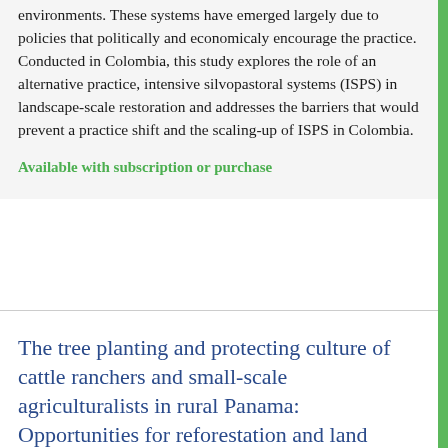environments. These systems have emerged largely due to policies that politically and economicaly encourage the practice. Conducted in Colombia, this study explores the role of an alternative practice, intensive silvopastoral systems (ISPS) in landscape-scale restoration and addresses the barriers that would prevent a practice shift and the scaling-up of ISPS in Colombia.
Available with subscription or purchase
The tree planting and protecting culture of cattle ranchers and small-scale agriculturalists in rural Panama: Opportunities for reforestation and land restoration
Deforestation rates are high in mesoamerican, particularly within dry forests, thus threatening the regions biodiversity and livelihoods of local